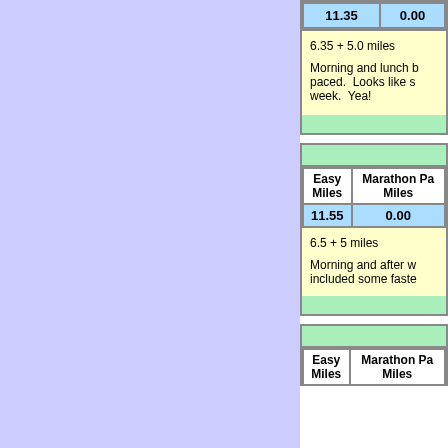| Easy Miles | Marathon Pace Miles |
| --- | --- |
| 11.35 | 0.00 |
6.35 + 5.0 miles
Morning and lunch [run], easy paced. Looks like s[omething] week. Yea!
| Easy Miles | Marathon Pace Miles |
| --- | --- |
| 11.55 | 0.00 |
6.5 + 5 miles
Morning and after w[ork], included some faste[r running]
| Easy Miles | Marathon Pace Miles |
| --- | --- |